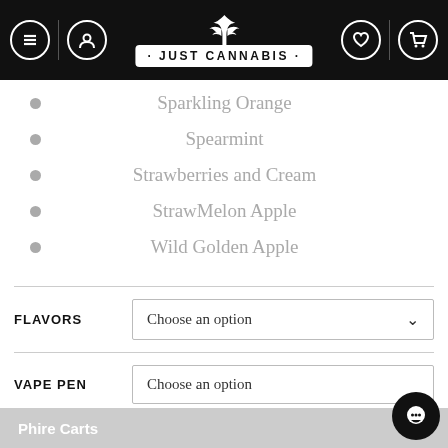JUST CANNABIS
Sparkling Orange
Spearmint
Strawberries and Cream
StrawMelon Apple
Wild Golden Apple
FLAVORS — Choose an option
VAPE PEN — Choose an option
Phire Carts